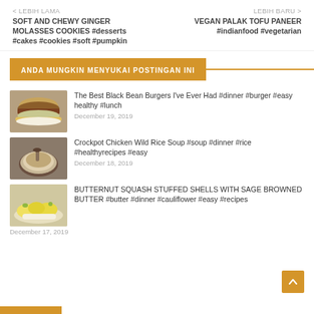< LEBIH LAMA
SOFT AND CHEWY GINGER MOLASSES COOKIES #desserts #cakes #cookies #soft #pumpkin
LEBIH BARU >
VEGAN PALAK TOFU PANEER #indianfood #vegetarian
ANDA MUNGKIN MENYUKAI POSTINGAN INI
[Figure (photo): A black bean burger on a white plate]
The Best Black Bean Burgers I've Ever Had #dinner #burger #easy healthy #lunch
December 19, 2019
[Figure (photo): A bowl of crockpot chicken wild rice soup]
Crockpot Chicken Wild Rice Soup #soup #dinner #rice #healthyrecipes #easy
December 18, 2019
[Figure (photo): Butternut squash stuffed shells on a plate]
BUTTERNUT SQUASH STUFFED SHELLS WITH SAGE BROWNED BUTTER #butter #dinner #cauliflower #easy #recipes
December 17, 2019